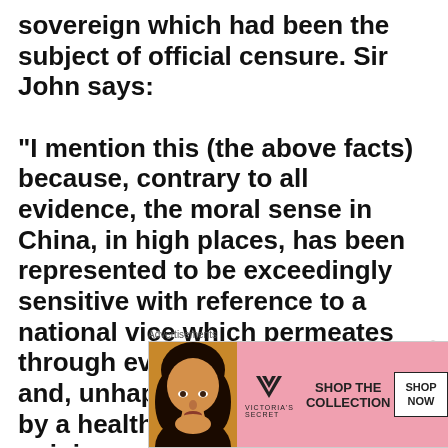sovereign which had been the subject of official censure. Sir John says:

“I mention this (the above facts) because, contrary to all evidence, the moral sense in China, in high places, has been represented to be exceedingly sensitive with reference to a national vice which permeates through every grade of society, and, unhappily, is not checked by a healthy state of public opinion; and while, in many of the provinces
[Figure (infographic): Victoria's Secret advertisement banner showing a woman's face, VS logo, 'SHOP THE COLLECTION' text, and 'SHOP NOW' button on a pink background]